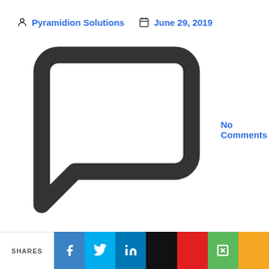Pyramidion Solutions   June 29, 2019   No Comments
Reading Time: 4 minutes
If you want to ensure astounding success for your Mobile app in the present market that is already overflowing with millions of competitors, then all that is needed is 100% commitment. You would have invested both time and money to make it a success so it is imperative to make sure that the app launch is also successful as well.
This article will tell you how exactly you can accomplish that by sharing some tips
SHARES